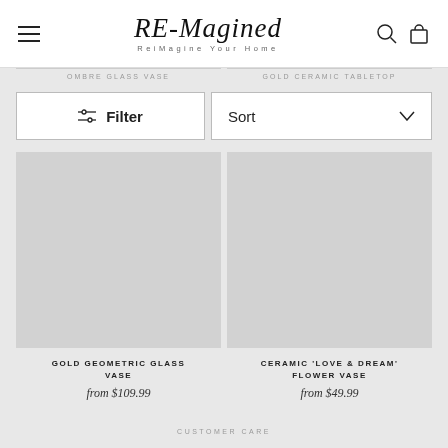RE-Magined — ReiMagine Your Home
OMBRE GLASS VASE
GOLD CERAMIC TABLETOP
Filter
Sort
[Figure (photo): Product image placeholder - grey rectangle for Gold Geometric Glass Vase]
GOLD GEOMETRIC GLASS VASE
from $109.99
[Figure (photo): Product image placeholder - grey rectangle for Ceramic Love & Dream Flower Vase]
CERAMIC 'LOVE & DREAM' FLOWER VASE
from $49.99
CUSTOMER CARE